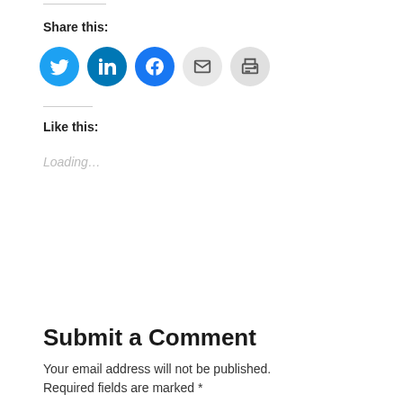Share this:
[Figure (infographic): Row of five social share icon circles: Twitter (blue bird), LinkedIn (blue 'in'), Facebook (blue 'f'), Email (grey envelope), Print (grey printer)]
Like this:
Loading...
Submit a Comment
Your email address will not be published. Required fields are marked *